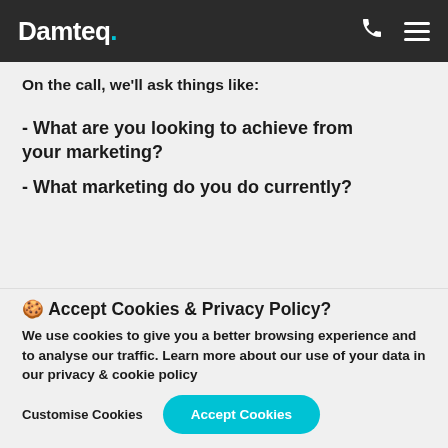Damteq.
On the call, we'll ask things like:
- What are you looking to achieve from your marketing?
- What marketing do you do currently?
🍪 Accept Cookies & Privacy Policy?
We use cookies to give you a better browsing experience and to analyse our traffic. Learn more about our use of your data in our privacy & cookie policy
Customise Cookies    Accept Cookies